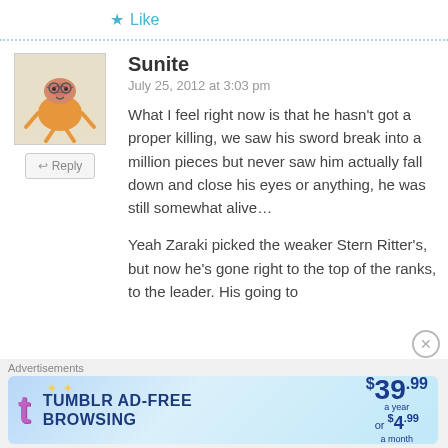★ Like
Sunite
July 25, 2012 at 3:03 pm
What I feel right now is that he hasn't got a proper killing, we saw his sword break into a million pieces but never saw him actually fall down and close his eyes or anything, he was still somewhat alive...

Yeah Zaraki picked the weaker Stern Ritter's, but now he's gone right to the top of the ranks, to the leader. His going to
[Figure (screenshot): Tumblr Ad-Free Browsing advertisement banner: $39.99 a year or $4.99 a month]